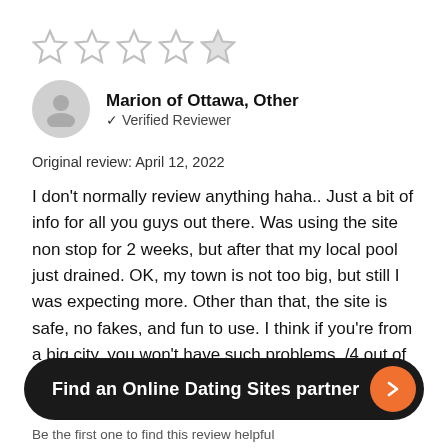[Figure (other): 4 out of 5 stars rating (4 filled stars, 1 empty star)]
Marion of Ottawa, Other
✓ Verified Reviewer
Original review: April 12, 2022
I don't normally review anything haha.. Just a bit of info for all you guys out there. Was using the site non stop for 2 weeks, but after that my local pool just drained. OK, my town is not too big, but still I was expecting more. Other than that, the site is safe, no fakes, and fun to use. I think if you're from a big city, you won't have such problems. /4 out of 5/
Find an Online Dating Sites partner →
Be the first one to find this review helpful